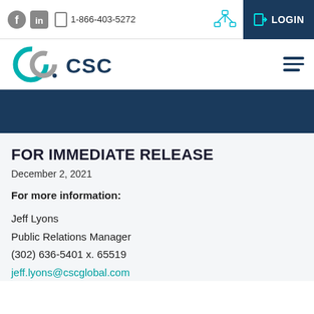1-866-403-5272 | LOGIN
[Figure (logo): CSC logo with interlocking circles in teal and gray, followed by bold dark text 'CSC']
FOR IMMEDIATE RELEASE
December 2, 2021
For more information:
Jeff Lyons
Public Relations Manager
(302) 636-5401 x. 65519
jeff.lyons@cscglobal.com